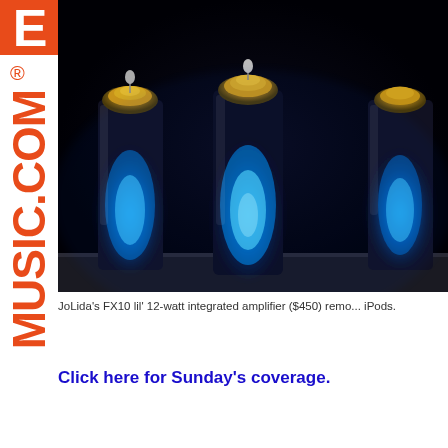[Figure (logo): Letter E logo in orange/red on orange background, part of eMusic.com branding, displayed vertically on left sidebar]
[Figure (photo): Close-up photo of vacuum tubes glowing blue in darkness, from JoLida FX10 amplifier]
JoLida's FX10 lil' 12-watt integrated amplifier ($450) remo... iPods.
Click here for Sunday's coverage.